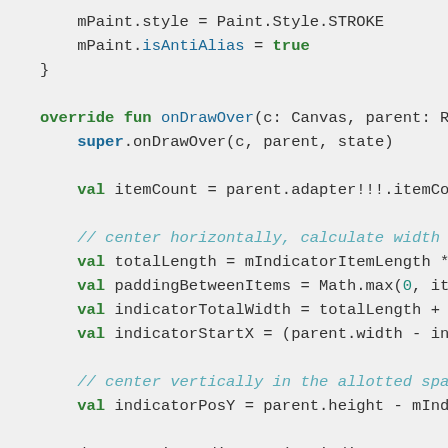mPaint.style = Paint.Style.STROKE
    mPaint.isAntiAlias = true
}

override fun onDrawOver(c: Canvas, parent: Re
    super.onDrawOver(c, parent, state)

    val itemCount = parent.adapter!!!.itemCour

    // center horizontally, calculate width a
    val totalLength = mIndicatorItemLength *
    val paddingBetweenItems = Math.max(0, ite
    val indicatorTotalWidth = totalLength + p
    val indicatorStartX = (parent.width - inc

    // center vertically in the allotted spac
    val indicatorPosY = parent.height - mIndi

    drawInactiveIndicators(c, indicatorStartX

    // find active...